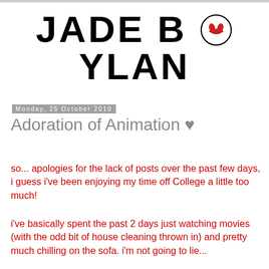JADE BOYLAN
Monday, 25 October 2010
Adoration of Animation ♥
so... apologies for the lack of posts over the past few days, i guess i've been enjoying my time off College a little too much!
i've basically spent the past 2 days just watching movies (with the odd bit of house cleaning thrown in) and pretty much chilling on the sofa. i'm not going to lie...